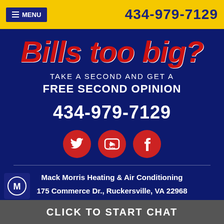MENU | 434-979-7129
Bills too big?
TAKE A SECOND AND GET A FREE SECOND OPINION
434-979-7129
[Figure (illustration): Three red circular social media icons: Twitter bird, YouTube play button, Facebook f]
Mack Morris Heating & Air Conditioning
175 Commerce Dr., Ruckersville, VA 22968
[Figure (logo): Partial company logo at bottom left]
CLICK TO START CHAT